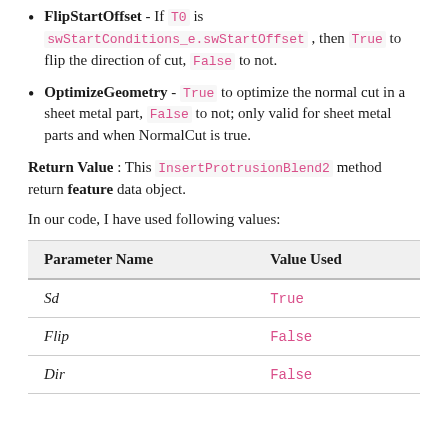FlipStartOffset - If T0 is swStartConditions_e.swStartOffset , then True to flip the direction of cut, False to not.
OptimizeGeometry - True to optimize the normal cut in a sheet metal part, False to not; only valid for sheet metal parts and when NormalCut is true.
Return Value : This InsertProtrusionBlend2 method return feature data object.
In our code, I have used following values:
| Parameter Name | Value Used |
| --- | --- |
| Sd | True |
| Flip | False |
| Dir | False |